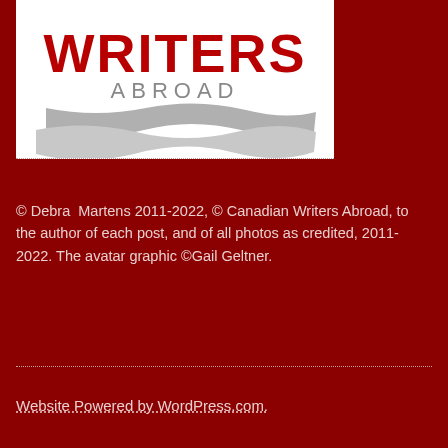[Figure (logo): Canadian Writers Abroad logo: red bold text 'WRITERS' on white background with 'ABROAD' in gray below and decorative gray wave/ribbon shapes underneath]
© Debra Martens 2011-2022, © Canadian Writers Abroad, to the author of each post, and of all photos as credited, 2011-2022. The avatar graphic ©Gail Geltner.
Website Powered by WordPress.com.